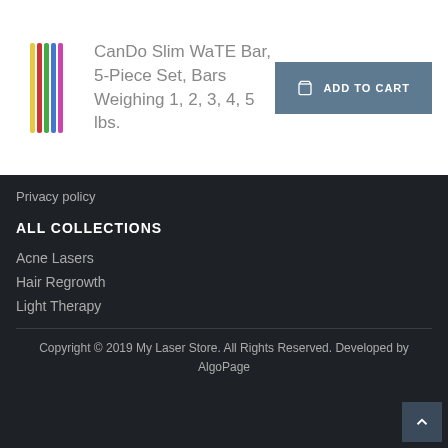[Figure (photo): Product image of CanDo Slim WaTE Bar set showing colorful vertical bars stacked together]
CanDo Slim WaTE Bar, 5-Piece Set, Bars Weighing 1, 2, 3, 4, 5 lbs.
ADD TO CART
Privacy policy
ALL COLLECTIONS
Acne Lasers
Hair Regrowth
Light Therapy
Copyright © 2019 My Laser Store. All Rights Reserved. Developed by AlgoPage